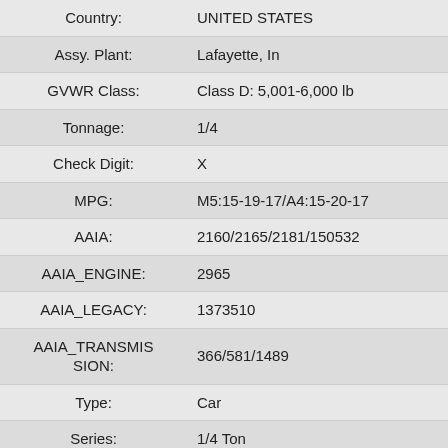| Field | Value |
| --- | --- |
| Country: | UNITED STATES |
| Assy. Plant: | Lafayette, In |
| GVWR Class: | Class D: 5,001-6,000 lb |
| Tonnage: | 1/4 |
| Check Digit: | X |
| MPG: | M5:15-19-17/A4:15-20-17 |
| AAIA: | 2160/2165/2181/150532 |
| AAIA_ENGINE: | 2965 |
| AAIA_LEGACY: | 1373510 |
| AAIA_TRANSMISSION: | 366/581/1489 |
| Type: | Car |
| Series: | 1/4 Ton |
| Engine Series Code: | 6VD1 |